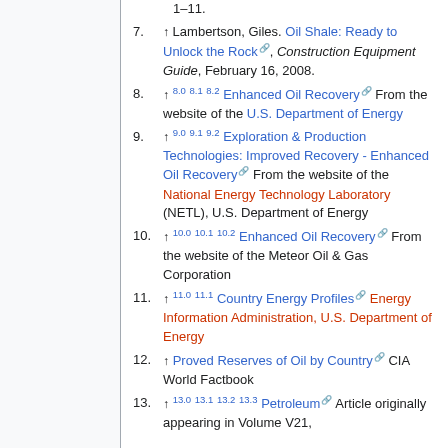1–11.
7. ↑ Lambertson, Giles. Oil Shale: Ready to Unlock the Rock, Construction Equipment Guide, February 16, 2008.
8. ↑ 8.0 8.1 8.2 Enhanced Oil Recovery From the website of the U.S. Department of Energy
9. ↑ 9.0 9.1 9.2 Exploration & Production Technologies: Improved Recovery - Enhanced Oil Recovery From the website of the National Energy Technology Laboratory (NETL), U.S. Department of Energy
10. ↑ 10.0 10.1 10.2 Enhanced Oil Recovery From the website of the Meteor Oil & Gas Corporation
11. ↑ 11.0 11.1 Country Energy Profiles Energy Information Administration, U.S. Department of Energy
12. ↑ Proved Reserves of Oil by Country CIA World Factbook
13. ↑ 13.0 13.1 13.2 13.3 Petroleum Article originally appearing in Volume V21,